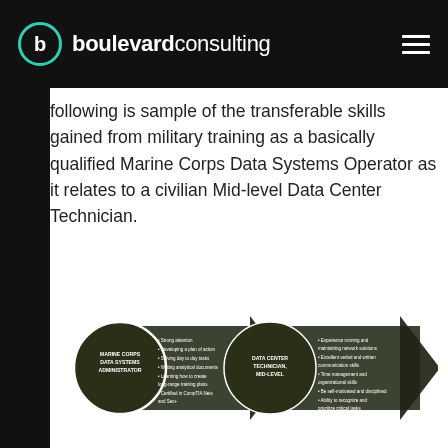boulevard consulting
following is sample of the transferable skills gained from military training as a basically qualified Marine Corps Data Systems Operator as it relates to a civilian Mid-level Data Center Technician.
[Figure (infographic): Two arrow-and-circle infographic diagrams side by side. Left: a dark circle labeled 'MARINE CORPS DATA SYSTEMS ADMINISTRATOR' with a dark arrow pointing right containing bullet points. Right: a dark circle labeled 'DATA CENTER TECHNICIAN, MID-LEVEL' with a dark arrow pointing right containing bullet points about experience.]
The product of the extensive schooling and training required by the military are